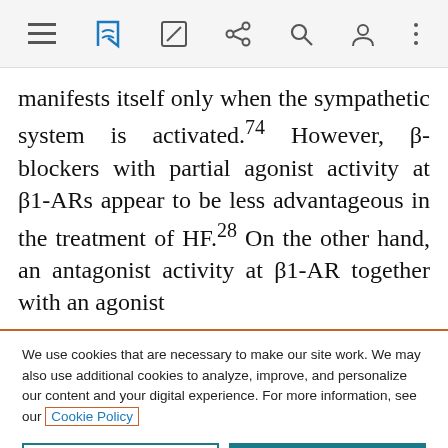[Navigation bar with menu, bookmark, edit, share, search, account, and more icons]
manifests itself only when the sympathetic system is activated.74 However, β-blockers with partial agonist activity at β1-ARs appear to be less advantageous in the treatment of HF.28 On the other hand, an antagonist activity at β1-AR together with an agonist
We use cookies that are necessary to make our site work. We may also use additional cookies to analyze, improve, and personalize our content and your digital experience. For more information, see our Cookie Policy
Cookie settings
Accept all cookies